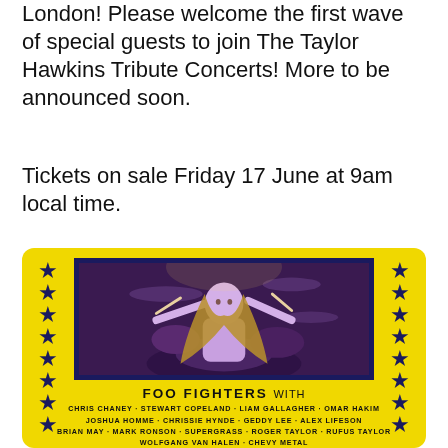London! Please welcome the first wave of special guests to join The Taylor Hawkins Tribute Concerts! More to be announced soon.
Tickets on sale Friday 17 June at 9am local time.
[Figure (photo): Concert poster with yellow background and dark blue stars on left and right borders. Center shows a black and white photo of Taylor Hawkins playing drums. Below the photo: FOO FIGHTERS with Chris Chaney, Stewart Copeland, Liam Gallagher, Omar Hakim, Joshua Homme, Chrissie Hynde, Geddy Lee, Alex Lifeson, Brian May, Mark Ronson, Supergrass, Roger Taylor, Rufus Taylor, Wolfgang Van Halen, Chevy Metal.]